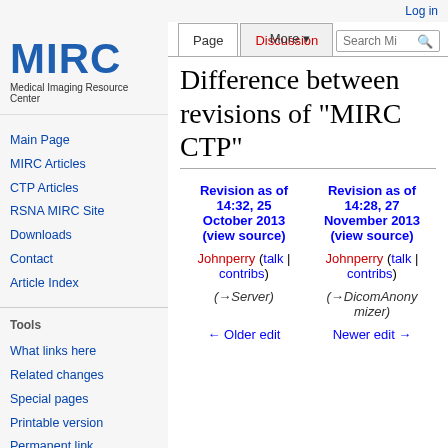Log in
[Figure (logo): MIRC logo - Medical Imaging Resource Center, blue bold text]
Main Page
MIRC Articles
CTP Articles
RSNA MIRC Site
Downloads
Contact
Article Index
Tools
What links here
Related changes
Special pages
Printable version
Permanent link
Difference between revisions of "MIRC CTP"
| Revision as of 14:32, 25 October 2013 (view source) | Revision as of 14:28, 27 November 2013 (view source) |
| --- | --- |
| Johnperry (talk | contribs) | Johnperry (talk | contribs) |
| (→Server) | (→DicomAnonymizer) |
| ← Older edit | Newer edit → |